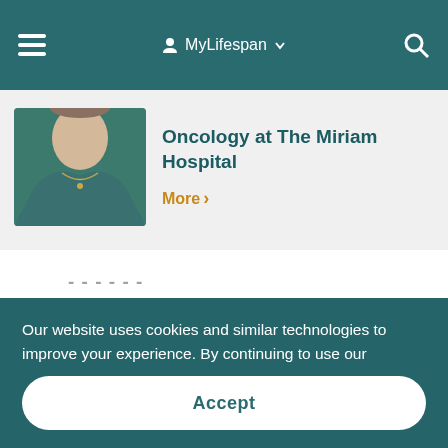MyLifespan
[Figure (photo): Partial photo of a person wearing a teal shirt and a necklace]
Oncology at The Miriam Hospital
More >
Our website uses cookies and similar technologies to improve your experience. By continuing to use our website, or by clicking Accept, you consent to the use of these technologies.
Accept